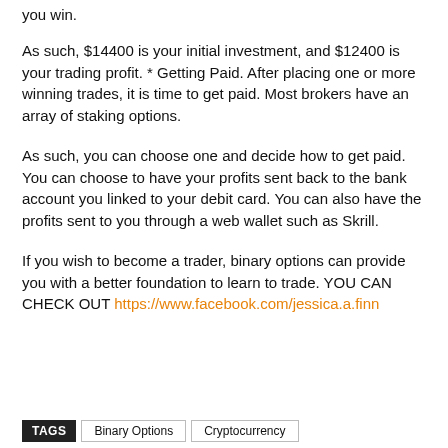you win.
As such, $14400 is your initial investment, and $12400 is your trading profit. * Getting Paid. After placing one or more winning trades, it is time to get paid. Most brokers have an array of staking options.
As such, you can choose one and decide how to get paid. You can choose to have your profits sent back to the bank account you linked to your debit card. You can also have the profits sent to you through a web wallet such as Skrill.
If you wish to become a trader, binary options can provide you with a better foundation to learn to trade. YOU CAN CHECK OUT https://www.facebook.com/jessica.a.finn
TAGS   Binary Options   Cryptocurrency